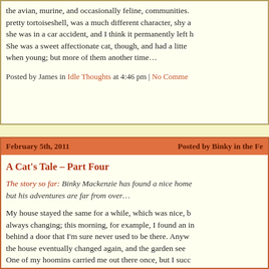the avian, murine, and occasionally feline, communities. pretty tortoiseshell, was a much different character, shy a she was in a car accident, and I think it permanently left h She was a sweet affectionate cat, though, and had a litte when young; but more of them another time…
Posted by James in Idle Thoughts at 4:46 pm | No Comme
February 5th, 2011    Posted by Binky in the Fe
A Cat's Tale – Part Four
The story so far: Binky Mackenzie has found a nice home but his adventures are far from over…
My house stayed the same for a while, which was nice, b always changing; this morning, for example, I found an in behind a door that I'm sure never used to be there. Anyw the house eventually changed again, and the garden see One of my hoomins carried me out there once, but I succ communicated my discomfort by staying within a paw's b and wheeling out my best plaintive voice. I did not get tak Although later I did fall out of one of those holes that you houses, after I lost my balance during a particularly vigor